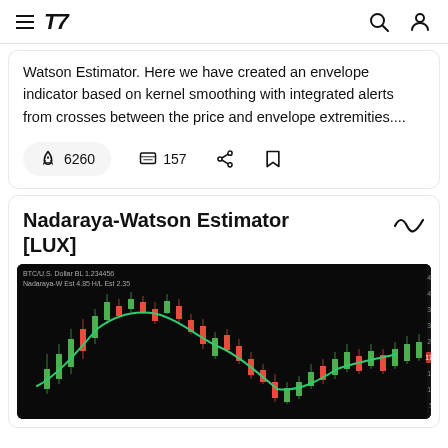TradingView
Watson Estimator. Here we have created an envelope indicator based on kernel smoothing with integrated alerts from crosses between the price and envelope extremities....
6260 boosts · 157 comments
Nadaraya-Watson Estimator [LUX]
[Figure (screenshot): Dark-background candlestick chart showing price action with a green smoothed curve (Nadaraya-Watson estimator line) overlaid, with red/green candles and price scale on right side.]